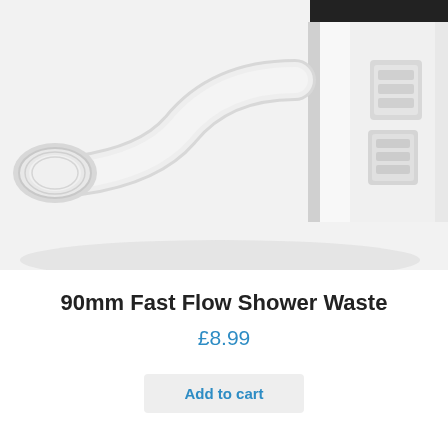[Figure (photo): Close-up photo of a white 90mm fast flow shower waste pipe fitting with threaded connections on a light grey/white background]
90mm Fast Flow Shower Waste
£8.99
Add to cart